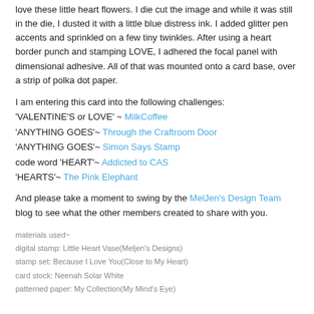love these little heart flowers. I die cut the image and while it was still in the die, I dusted it with a little blue distress ink. I added glitter pen accents and sprinkled on a few tiny twinkles. After using a heart border punch and stamping LOVE, I adhered the focal panel with dimensional adhesive. All of that was mounted onto a card base, over a strip of polka dot paper.
I am entering this card into the following challenges:
'VALENTINE'S or LOVE' ~ MilkCoffee
'ANYTHING GOES'~ Through the Craftroom Door
'ANYTHING GOES'~ Simon Says Stamp
code word 'HEART'~ Addicted to CAS
'HEARTS'~ The Pink Elephant
And please take a moment to swing by the MelJen's Design Team blog to see what the other members created to share with you.
materials used~
digital stamp: Little Heart Vase(Meljen's Designs)
stamp set: Because I Love You(Close to My Heart)
card stock: Neenah Solar White
patterned paper: My Collection(My Mind's Eye)